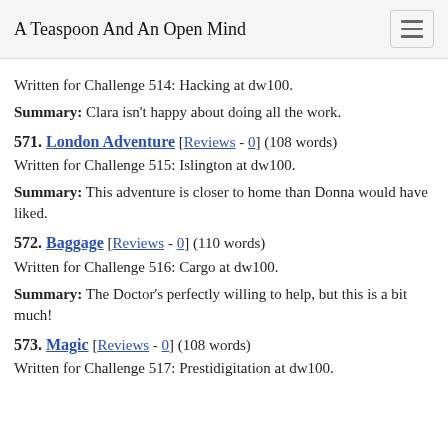A Teaspoon And An Open Mind
Written for Challenge 514: Hacking at dw100.
Summary: Clara isn't happy about doing all the work.
571. London Adventure [Reviews - 0] (108 words)
Written for Challenge 515: Islington at dw100.
Summary: This adventure is closer to home than Donna would have liked.
572. Baggage [Reviews - 0] (110 words)
Written for Challenge 516: Cargo at dw100.
Summary: The Doctor's perfectly willing to help, but this is a bit much!
573. Magic [Reviews - 0] (108 words)
Written for Challenge 517: Prestidigitation at dw100.